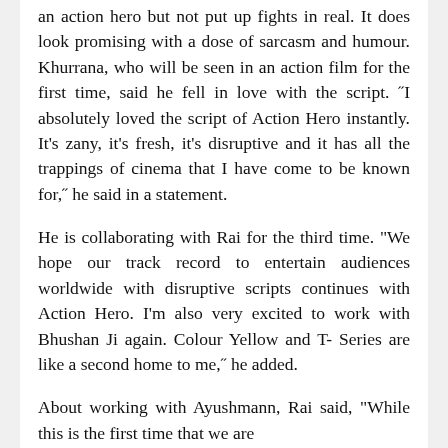an action hero but not put up fights in real. It does look promising with a dose of sarcasm and humour. Khurrana, who will be seen in an action film for the first time, said he fell in love with the script. "I absolutely loved the script of Action Hero instantly. It’s zany, it’s fresh, it’s disruptive and it has all the trappings of cinema that I have come to be known for," he said in a statement.
He is collaborating with Rai for the third time. “We hope our track record to entertain audiences worldwide with disruptive scripts continues with Action Hero. I’m also very excited to work with Bhushan Ji again. Colour Yellow and T- Series are like a second home to me,” he added.
About working with Ayushmann, Rai said, “While this is the first time that we are